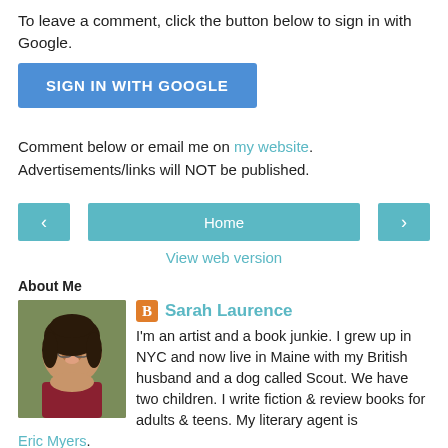To leave a comment, click the button below to sign in with Google.
[Figure (other): Blue 'SIGN IN WITH GOOGLE' button]
Comment below or email me on my website. Advertisements/links will NOT be published.
[Figure (other): Navigation row with left arrow, Home button, right arrow]
View web version
About Me
[Figure (photo): Profile photo of Sarah Laurence]
Sarah Laurence
I'm an artist and a book junkie. I grew up in NYC and now live in Maine with my British husband and a dog called Scout. We have two children. I write fiction & review books for adults & teens. My literary agent is Eric Myers.
View my complete profile